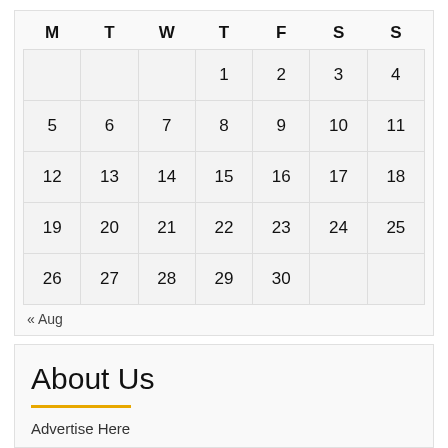| M | T | W | T | F | S | S |
| --- | --- | --- | --- | --- | --- | --- |
|  |  |  | 1 | 2 | 3 | 4 |
| 5 | 6 | 7 | 8 | 9 | 10 | 11 |
| 12 | 13 | 14 | 15 | 16 | 17 | 18 |
| 19 | 20 | 21 | 22 | 23 | 24 | 25 |
| 26 | 27 | 28 | 29 | 30 |  |  |
« Aug
About Us
Advertise Here